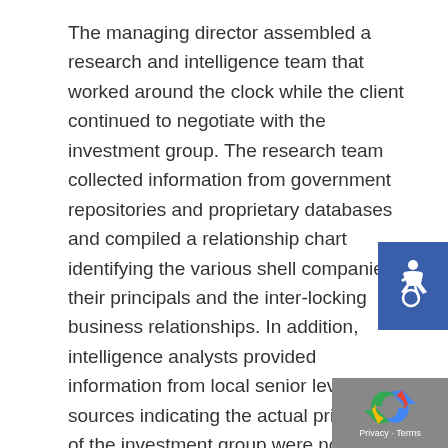The managing director assembled a research and intelligence team that worked around the clock while the client continued to negotiate with the investment group. The research team collected information from government repositories and proprietary databases and compiled a relationship chart identifying the various shell companies, their principals and the inter-locking business relationships. In addition, intelligence analysts provided information from local senior level sources indicating the actual principals of the investment group were not disclosed to the client. Our sources indicated one principal was suspected of having ties to
[Figure (other): Blue accessibility (wheelchair) icon badge in the bottom-right area of the page]
[Figure (other): reCAPTCHA privacy badge in the bottom-right corner, gray background with recaptcha logo and 'Privacy - Terms' text]